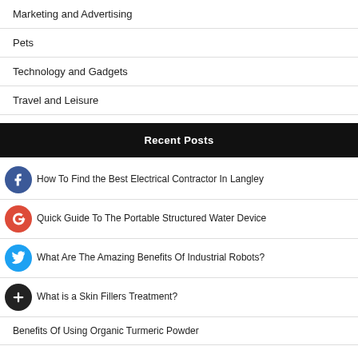Marketing and Advertising
Pets
Technology and Gadgets
Travel and Leisure
Recent Posts
How To Find the Best Electrical Contractor In Langley
Quick Guide To The Portable Structured Water Device
What Are The Amazing Benefits Of Industrial Robots?
What is a Skin Fillers Treatment?
Benefits Of Using Organic Turmeric Powder